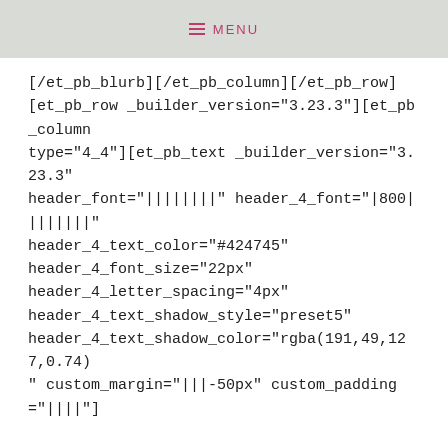MENU
[/et_pb_blurb][/et_pb_column][/et_pb_row][et_pb_row _builder_version="3.23.3"][et_pb_column type="4_4"][et_pb_text _builder_version="3.23.3" header_font="||||||||" header_4_font="|800|||||||" header_4_text_color="#424745" header_4_font_size="22px" header_4_letter_spacing="4px" header_4_text_shadow_style="preset5" header_4_text_shadow_color="rgba(191,49,127,0.74)" custom_margin="|||-50px" custom_padding="||||"]
courses
[/et_pb_text][/et_pb_column][/et_pb_row][et_pb_row